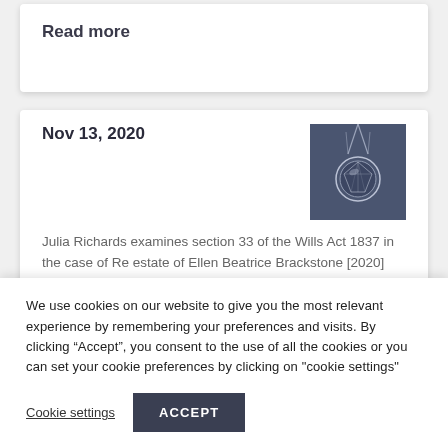Read more
Nov 13, 2020
[Figure (photo): Thumbnail image of a diamond pendant necklace on a dark blue-grey background]
Julia Richards examines section 33 of the Wills Act 1837 in the case of Re estate of Ellen Beatrice Brackstone [2020]
We use cookies on our website to give you the most relevant experience by remembering your preferences and visits. By clicking “Accept”, you consent to the use of all the cookies or you can set your cookie preferences by clicking on "cookie settings"
Cookie settings
ACCEPT